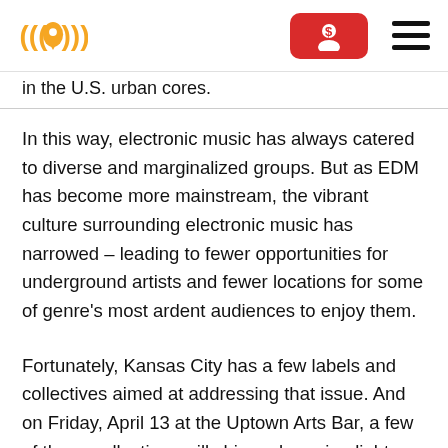[Logo: radio/location icon] [Red button with account icon] [Hamburger menu]
in the U.S. urban cores.
In this way, electronic music has always catered to diverse and marginalized groups. But as EDM has become more mainstream, the vibrant culture surrounding electronic music has narrowed – leading to fewer opportunities for underground artists and fewer locations for some of genre's most ardent audiences to enjoy them.
Fortunately, Kansas City has a few labels and collectives aimed at addressing that issue. And on Friday, April 13 at the Uptown Arts Bar, a few of those collectives will shine a beaming light on those